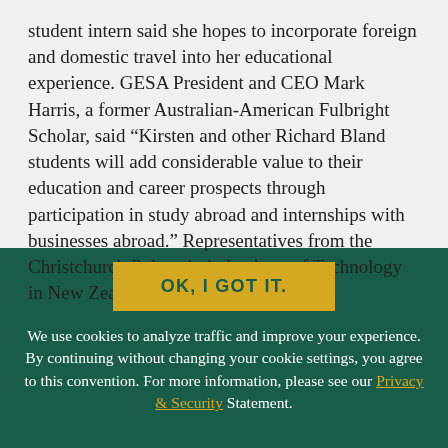student intern said she hopes to incorporate foreign and domestic travel into her educational experience. GESA President and CEO Mark Harris, a former Australian-American Fulbright Scholar, said “Kirsten and other Richard Bland students will add considerable value to their education and career prospects through participation in study abroad and internships with businesses abroad.” Representatives from the Christchurch Polytechnic Institute of Technology in New Zealand were also in attendance.
OK, I GOT IT.
We use cookies to analyze traffic and improve your experience. By continuing without changing your cookie settings, you agree to this convention. For more information, please see our Privacy & Security Statement.